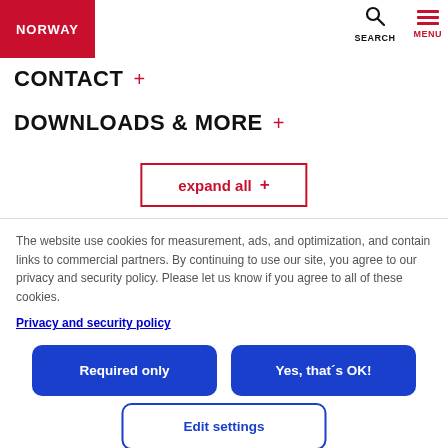NORWAY | SEARCH | MENU
CONTACT +
DOWNLOADS & MORE +
expand all +
The website use cookies for measurement, ads, and optimization, and contain links to commercial partners. By continuing to use our site, you agree to our privacy and security policy. Please let us know if you agree to all of these cookies.
Privacy and security policy
Required only
Yes, that´s OK!
Edit settings